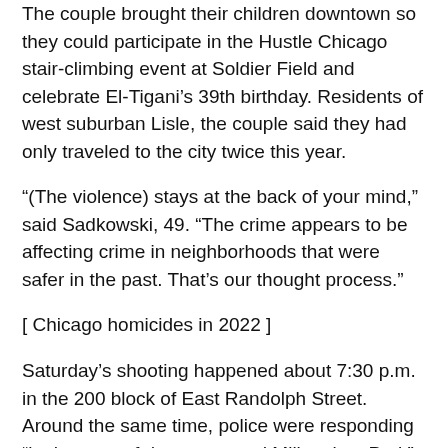The couple brought their children downtown so they could participate in the Hustle Chicago stair-climbing event at Soldier Field and celebrate El-Tigani's 39th birthday. Residents of west suburban Lisle, the couple said they had only traveled to the city twice this year.
“(The violence) stays at the back of your mind,” said Sadkowski, 49. “The crime appears to be affecting crime in neighborhoods that were safer in the past. That’s our thought process.”
[ Chicago homicides in 2022 ]
Saturday’s shooting happened about 7:30 p.m. in the 200 block of East Randolph Street. Around the same time, police were responding “in the area of downtown and Millennium Park” to what they deemed a large crowd “disturbance” — which led to the arrest of dozens of juveniles, two injured police officers and seven recovered